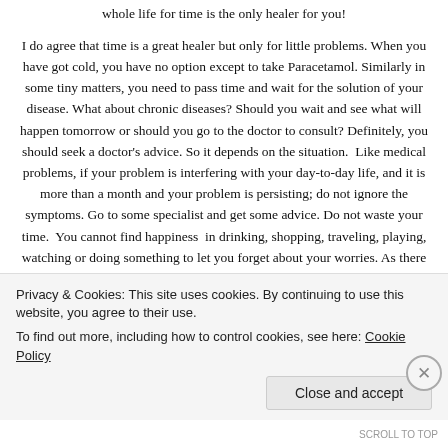whole life for time is the only healer for you!
I do agree that time is a great healer but only for little problems. When you have got cold, you have no option except to take Paracetamol. Similarly in some tiny matters, you need to pass time and wait for the solution of your disease. What about chronic diseases? Should you wait and see what will happen tomorrow or should you go to the doctor to consult? Definitely, you should seek a doctor's advice. So it depends on the situation. Like medical problems, if your problem is interfering with your day-to-day life, and it is more than a month and your problem is persisting; do not ignore the symptoms. Go to some specialist and get some advice. Do not waste your time. You cannot find happiness in drinking, shopping, traveling, playing, watching or doing something to let you forget about your worries. As there is no quick fix to your psychological disorders, to get you out of trouble miraculously. Yes, you can find happiness through these hobbies, if you are already happy. So
Privacy & Cookies: This site uses cookies. By continuing to use this website, you agree to their use.
To find out more, including how to control cookies, see here: Cookie Policy
Close and accept